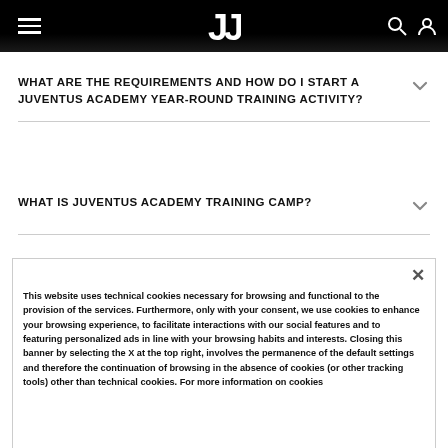Juventus navigation bar with logo
WHAT ARE THE REQUIREMENTS AND HOW DO I START A JUVENTUS ACADEMY YEAR-ROUND TRAINING ACTIVITY?
WHAT IS JUVENTUS ACADEMY TRAINING CAMP?
This website uses technical cookies necessary for browsing and functional to the provision of the services. Furthermore, only with your consent, we use cookies to enhance your browsing experience, to facilitate interactions with our social features and to featuring personalized ads in line with your browsing habits and interests. Closing this banner by selecting the X at the top right, involves the permanence of the default settings and therefore the continuation of browsing in the absence of cookies (or other tracking tools) other than technical cookies. For more information on cookies